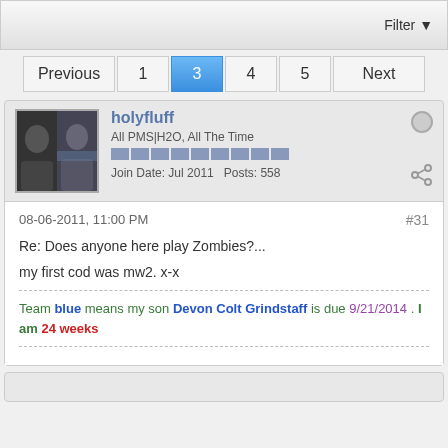Filter ▼
Previous  1  3  4  5  Next
holyfluff
All PMS|H2O, All The Time
Join Date: Jul 2011   Posts: 558
08-06-2011, 11:00 PM  #31
Re: Does anyone here play Zombies?...
my first cod was mw2. x-x
Team blue means my son Devon Colt Grindstaff is due 9/21/2014. I am 24 weeks